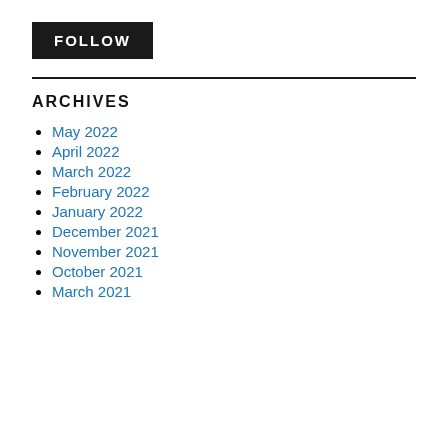FOLLOW
ARCHIVES
May 2022
April 2022
March 2022
February 2022
January 2022
December 2021
November 2021
October 2021
March 2021